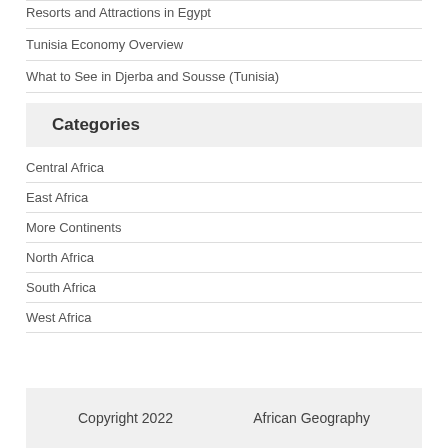Resorts and Attractions in Egypt
Tunisia Economy Overview
What to See in Djerba and Sousse (Tunisia)
Categories
Central Africa
East Africa
More Continents
North Africa
South Africa
West Africa
Copyright 2022    African Geography